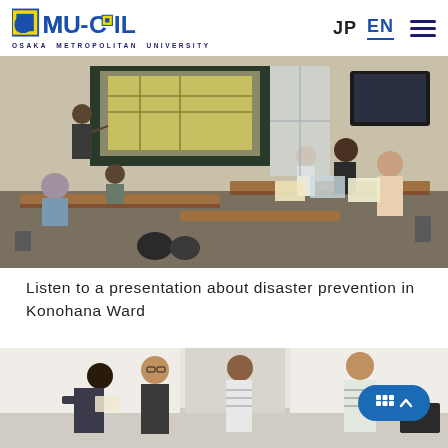OMU-COIL — OSAKA METROPOLITAN UNIVERSITY | JP EN
[Figure (photo): Group of people seated around tables in a classroom setting, one person standing and presenting at a projected map on the wall. Participants are reviewing printed materials.]
Listen to a presentation about disaster prevention in Konohana Ward
[Figure (photo): People standing in a room engaged in group discussion; one person appears to be showing something to others.]